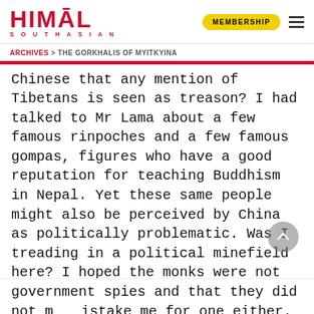HIMAL SOUTHASIAN | MEMBERSHIP
ARCHIVES > THE GORKHALIS OF MYITKYINA
Chinese that any mention of Tibetans is seen as treason? I had talked to Mr Lama about a few famous rinpoches and a few famous gompas, figures who have a good reputation for teaching Buddhism in Nepal. Yet these same people might also be perceived by China as politically problematic. Was I treading in a political minefield here? I hoped the monks were not government spies and that they did not mistake me for one either.